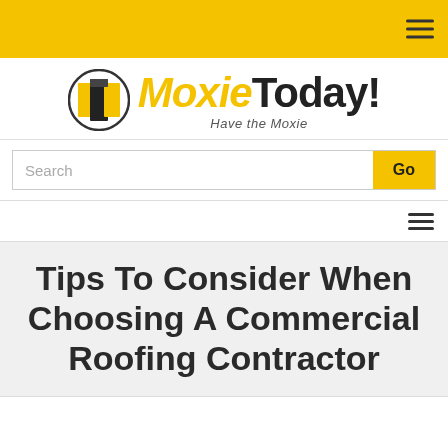MoxieToday! Have the Moxie
[Figure (logo): MoxieToday! logo with circular icon containing a stylized bookmark/pillar shape in black and gold, with 'Moxie' in gold italic and 'Today!' in black bold, tagline 'Have the Moxie' below]
Search
Tips To Consider When Choosing A Commercial Roofing Contractor